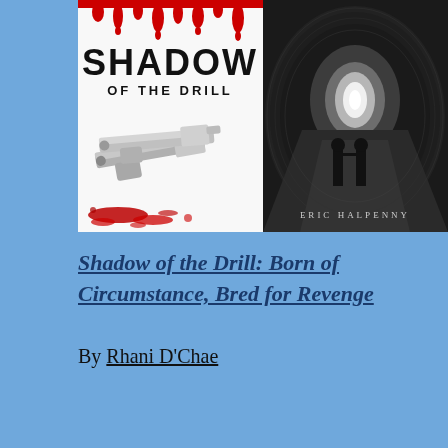[Figure (illustration): Two book covers side by side. Left: 'Shadow of the Drill' with red blood drips at top, bold black text, and two pistols with blood splatter on white background. Right: Eric Halpenny book cover showing two children holding hands silhouetted against bright tunnel light in black and white.]
Shadow of the Drill: Born of Circumstance, Bred for Revenge
By Rhani D'Chae